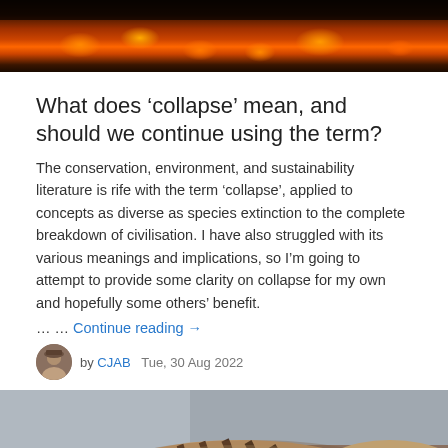[Figure (photo): A wildfire scene with flames and orange glow across a dark landscape]
What does ‘collapse’ mean, and should we continue using the term?
The conservation, environment, and sustainability literature is rife with the term ‘collapse’, applied to concepts as diverse as species extinction to the complete breakdown of civilisation. I have also struggled with its various meanings and implications, so I’m going to attempt to provide some clarity on collapse for my own and hopefully some others’ benefit. … … Continue reading →
by CJAB   Tue, 30 Aug 2022
[Figure (photo): Close-up photograph of a thylacine (Tasmanian tiger) showing its distinctive striped back and body]